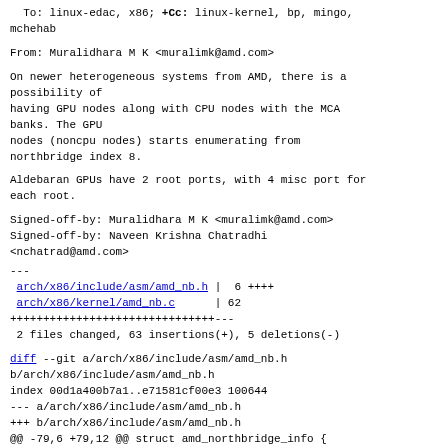To: linux-edac, x86; +Cc: linux-kernel, bp, mingo,
mchehab
From: Muralidhara M K <muralimk@amd.com>
On newer heterogeneous systems from AMD, there is a
possibility of
having GPU nodes along with CPU nodes with the MCA
banks. The GPU
nodes (noncpu nodes) starts enumerating from
northbridge index 8.
Aldebaran GPUs have 2 root ports, with 4 misc port for
each root.
Signed-off-by: Muralidhara M K <muralimk@amd.com>
Signed-off-by: Naveen Krishna Chatradhi
<nchatrad@amd.com>
---
 arch/x86/include/asm/amd_nb.h |  6 ++++
 arch/x86/kernel/amd_nb.c      | 62
+++++++++++++++++++++++++++++++---
 2 files changed, 63 insertions(+), 5 deletions(-)
diff --git a/arch/x86/include/asm/amd_nb.h
b/arch/x86/include/asm/amd_nb.h
index 00d1a400b7a1..e71581cf00e3 100644
--- a/arch/x86/include/asm/amd_nb.h
+++ b/arch/x86/include/asm/amd_nb.h
@@ -79,6 +79,12 @@ struct amd_northbridge_info {